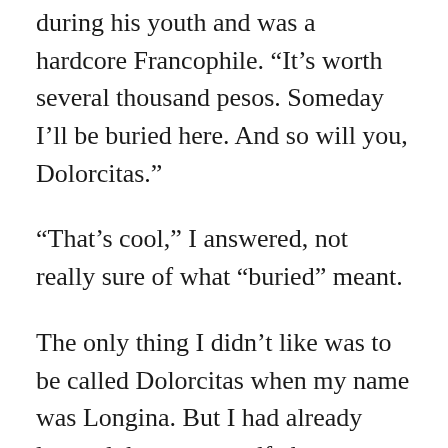during his youth and was a hardcore Francophile. “It’s worth several thousand pesos. Someday I’ll be buried here. And so will you, Dolorcitas.”
“That’s cool,” I answered, not really sure of what “buried” meant.
The only thing I didn’t like was to be called Dolorcitas when my name was Longina. But I had already learned that my grandfather, a cranky, tall and lean old man, didn’t act the way other people did. I didn’t mind it, though. At that time I was closer to him than to anybody